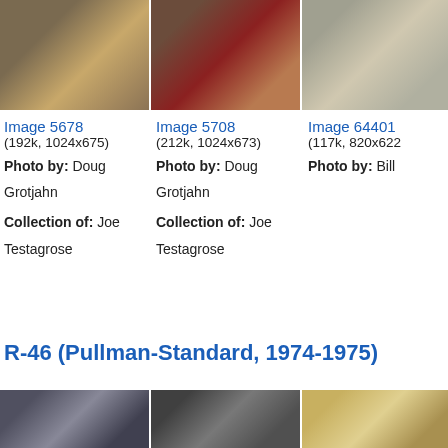[Figure (photo): Interior of subway car with orange seats, Image 5678]
[Figure (photo): Interior of subway car with brown/red seats, Image 5708]
[Figure (photo): Interior of subway car with orange seats, Image 64401]
Image 5678
(192k, 1024x675)
Photo by: Doug Grotjahn
Collection of: Joe Testagrose
Image 5708
(212k, 1024x673)
Photo by: Doug Grotjahn
Collection of: Joe Testagrose
Image 64401
(117k, 820x622
Photo by: Bill
R-46 (Pullman-Standard, 1974-1975)
[Figure (photo): Interior of R-46 subway car, dark tones]
[Figure (photo): Interior of R-46 subway car, seat view]
[Figure (photo): Interior of R-46 subway car, yellow/green tones]